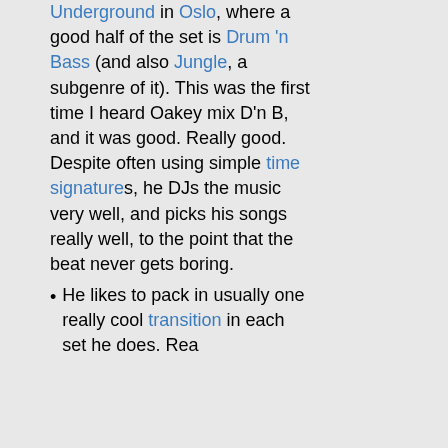Underground in Oslo, where a good half of the set is Drum 'n Bass (and also Jungle, a subgenre of it). This was the first time I heard Oakey mix D'n B, and it was good. Really good. Despite often using simple time signatures, he DJs the music very well, and picks his songs really well, to the point that the beat never gets boring.
He likes to pack in usually one really cool transition in each set he does. Rea...